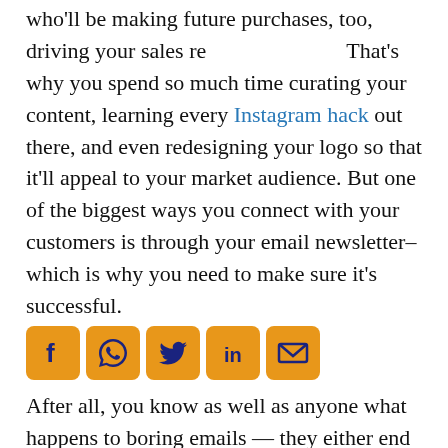who'll be making future purchases, too, driving your sales revenue. That's why you spend so much time curating your content, learning every Instagram hack out there, and even redesigning your logo so that it'll appeal to your market audience. But one of the biggest ways you connect with your customers is through your email newsletter–which is why you need to make sure it's successful.
[Figure (infographic): Row of five social media share icons: Facebook (f), WhatsApp (speech bubble), Twitter (bird), LinkedIn (in), Email (envelope) — all with dark blue icons on orange/yellow rounded square backgrounds]
After all, you know as well as anyone what happens to boring emails — they either end up drifting down to the bottom of your inbox, sent to the spam folder, or deleted. So if you want to send out emails that keep your customers...